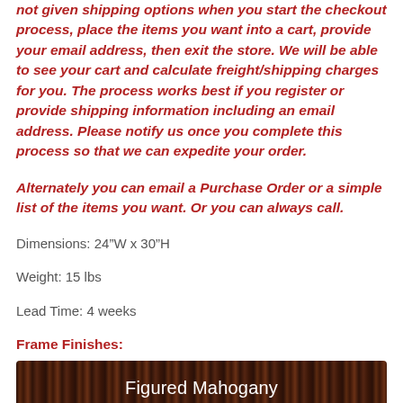not given shipping options when you start the checkout process, place the items you want into a cart, provide your email address, then exit the store. We will be able to see your cart and calculate freight/shipping charges for you. The process works best if you register or provide shipping information including an email address. Please notify us once you complete this process so that we can expedite your order.
Alternately you can email a Purchase Order or a simple list of the items you want. Or you can always call.
Dimensions: 24”W x 30”H
Weight: 15 lbs
Lead Time: 4 weeks
Frame Finishes:
[Figure (other): Figured Mahogany finish color swatch button with dark wood grain texture]
[Figure (other): Provincial Cherry finish color swatch button with dark red-brown color]
[Figure (other): Partial third finish color swatch button at bottom of page]